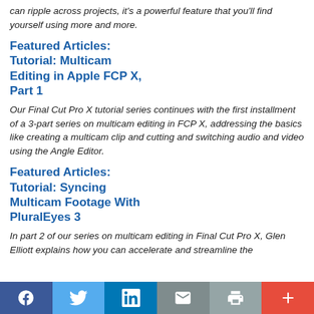can ripple across projects, it's a powerful feature that you'll find yourself using more and more.
Featured Articles: Tutorial: Multicam Editing in Apple FCP X, Part 1
Our Final Cut Pro X tutorial series continues with the first installment of a 3-part series on multicam editing in FCP X, addressing the basics like creating a multicam clip and cutting and switching audio and video using the Angle Editor.
Featured Articles: Tutorial: Syncing Multicam Footage With PluralEyes 3
In part 2 of our series on multicam editing in Final Cut Pro X, Glen Elliott explains how you can accelerate and streamline the